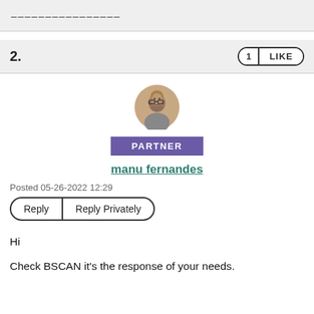________________
2.
[Figure (photo): Profile avatar photo of a bald man with glasses and a beard]
PARTNER
manu fernandes
Posted 05-26-2022 12:29
Reply | Reply Privately
Hi
Check BSCAN it's the response of your needs.